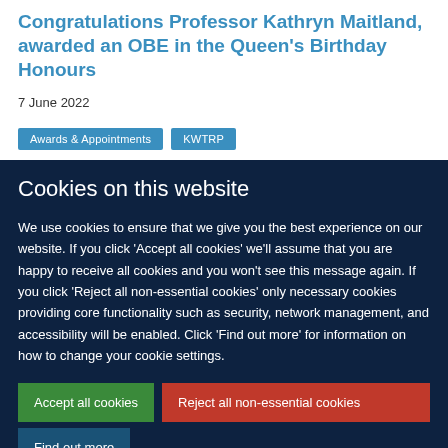Congratulations Professor Kathryn Maitland, awarded an OBE in the Queen's Birthday Honours
7 June 2022
Awards & Appointments
KWTRP
Cookies on this website
We use cookies to ensure that we give you the best experience on our website. If you click 'Accept all cookies' we'll assume that you are happy to receive all cookies and you won't see this message again. If you click 'Reject all non-essential cookies' only necessary cookies providing core functionality such as security, network management, and accessibility will be enabled. Click 'Find out more' for information on how to change your cookie settings.
Accept all cookies
Reject all non-essential cookies
Find out more